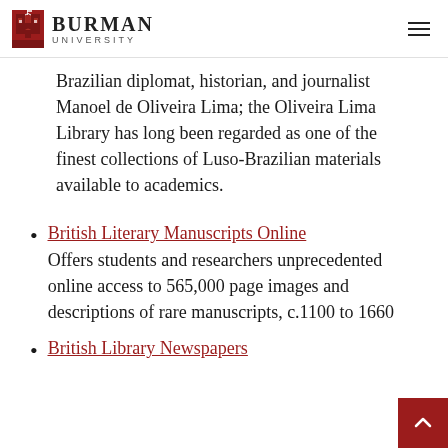Burman University
Brazilian diplomat, historian, and journalist Manoel de Oliveira Lima; the Oliveira Lima Library has long been regarded as one of the finest collections of Luso-Brazilian materials available to academics.
British Literary Manuscripts Online
Offers students and researchers unprecedented online access to 565,000 page images and descriptions of rare manuscripts, c.1100 to 1660
British Library Newspapers